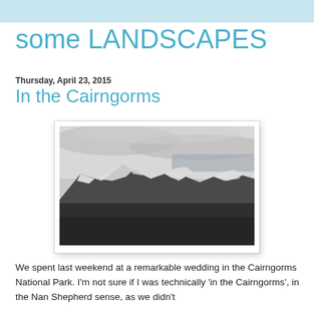some LANDSCAPES
Thursday, April 23, 2015
In the Cairngorms
[Figure (photo): Black and white photograph of snow-capped mountains in the Cairngorms National Park, with dark forested lower slopes and an overcast sky.]
We spent last weekend at a remarkable wedding in the Cairngorms National Park. I'm not sure if I was technically 'in the Cairngorms', in the Nan Shepherd sense, as we didn't